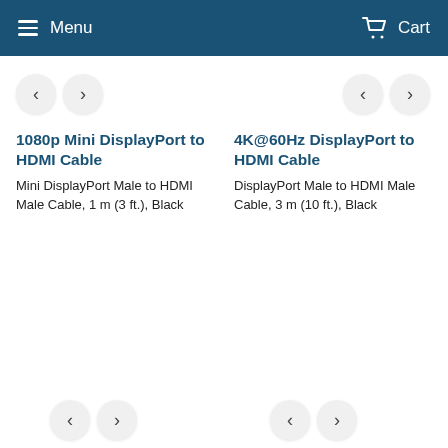Menu   Cart
1080p Mini DisplayPort to HDMI Cable
Mini DisplayPort Male to HDMI Male Cable, 1 m (3 ft.), Black
4K@60Hz DisplayPort to HDMI Cable
DisplayPort Male to HDMI Male Cable, 3 m (10 ft.), Black